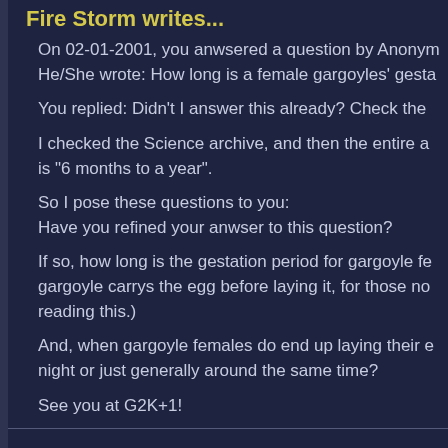Fire Storm writes...
On 02-01-2001, you anwsered a question by Anonym He/She wrote: How long is a female gargoyles' gesta
You replied: Didn't I answer this already? Check the
I checked the Science archive, and then the entire a is "6 months to a year".
So I pose these questions to you:
Have you refined your anwser to this question?
If so, how long is the gestation period for gargoyle fe gargoyle carrys the egg before laying it, for those no reading this.)
And, when gargoyle females do end up laying their e night or just generally around the same time?
See you at G2K+1!
Greg responds...
About six months is as refined as I've got it.